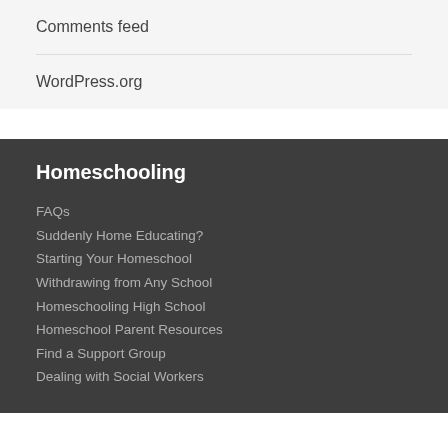Comments feed
WordPress.org
Homeschooling
FAQs
Suddenly Home Educating?
Starting Your Homeschool
Withdrawing from Any School
Homeschooling High School
Homeschool Parent Resources
Find a Support Group
Dealing with Social Workers